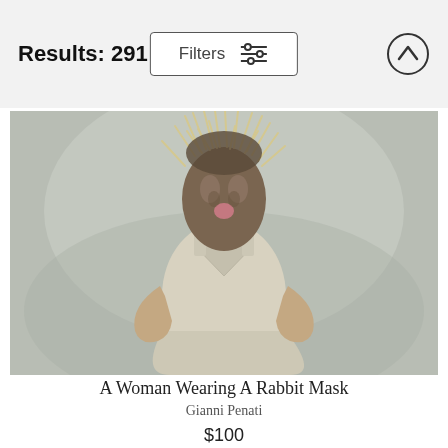Results: 291
[Figure (photo): A woman wearing a rabbit mask and a cream/beige silk slip dress, posed with hands on hips against a light grey background. The mask resembles a rabbit or animal face with wispy straw-like hair on top.]
A Woman Wearing A Rabbit Mask
Gianni Penati
$100